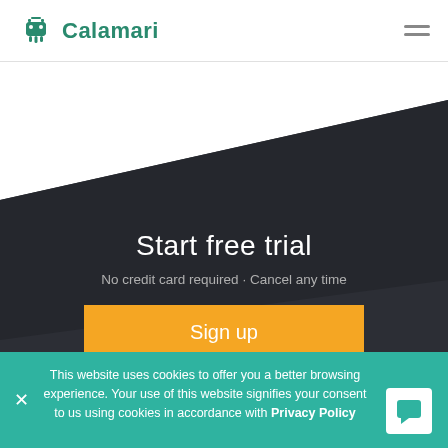[Figure (logo): Calamari logo with teal/green squid-like icon and bold teal text 'Calamari']
[Figure (illustration): Dark diagonal/angular background shape (near-black #2b2d33) covering the hero section from upper right to lower left, creating a geometric effect]
Start free trial
No credit card required · Cancel any time
Sign up
This website uses cookies to offer you a better browsing experience. Your use of this website signifies your consent to us using cookies in accordance with Privacy Policy